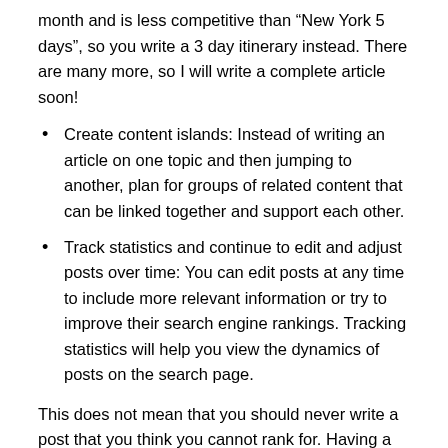month and is less competitive than “New York 5 days”, so you write a 3 day itinerary instead. There are many more, so I will write a complete article soon!
Create content islands: Instead of writing an article on one topic and then jumping to another, plan for groups of related content that can be linked together and support each other.
Track statistics and continue to edit and adjust posts over time: You can edit posts at any time to include more relevant information or try to improve their search engine rankings. Tracking statistics will help you view the dynamics of posts on the search page.
This does not mean that you should never write a post that you think you cannot rank for. Having a comprehensive website is important for attracting repeat customers and brands, and people also want to click to see more posts